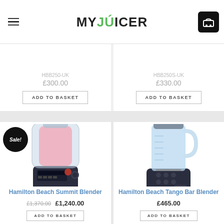MY JUICER
HBB250-UK £300.00
HBB250S-UK £330.00
[Figure (photo): Hamilton Beach Summit Blender product photo with Sale! badge overlay]
Hamilton Beach Summit Blender
£1,370.00 £1,240.00
[Figure (photo): Hamilton Beach Tango Bar Blender product photo]
Hamilton Beach Tango Bar Blender
£465.00